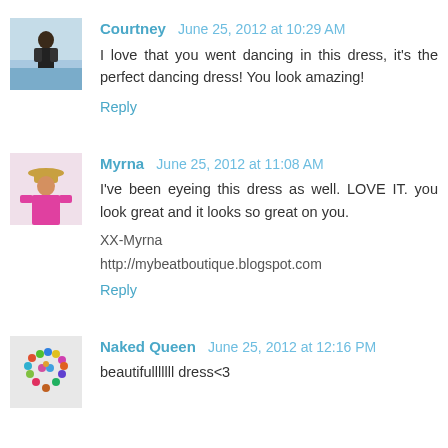[Figure (photo): Avatar photo of Courtney - woman standing outdoors]
Courtney   June 25, 2012 at 10:29 AM
I love that you went dancing in this dress, it's the perfect dancing dress! You look amazing!
Reply
[Figure (photo): Avatar photo of Myrna - woman in pink top wearing hat]
Myrna   June 25, 2012 at 11:08 AM
I've been eyeing this dress as well. LOVE IT. you look great and it looks so great on you.

XX-Myrna

http://mybeatboutique.blogspot.com
Reply
[Figure (photo): Avatar photo of Naked Queen - heart shape made of colorful items]
Naked Queen   June 25, 2012 at 12:16 PM
beautifulllllll dress<3